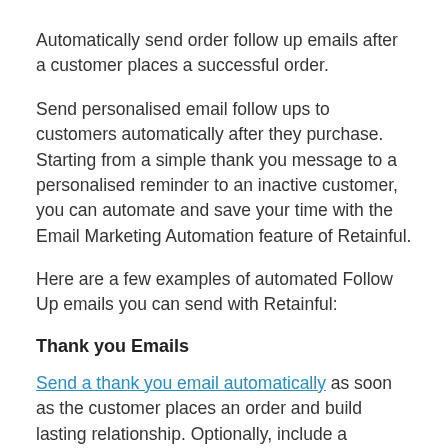Automatically send order follow up emails after a customer places a successful order.
Send personalised email follow ups to customers automatically after they purchase. Starting from a simple thank you message to a personalised reminder to an inactive customer, you can automate and save your time with the Email Marketing Automation feature of Retainful.
Here are a few examples of automated Follow Up emails you can send with Retainful:
Thank you Emails
Send a thank you email automatically as soon as the customer places an order and build lasting relationship. Optionally, include a dynamically generated, single-use, unique coupon code for the